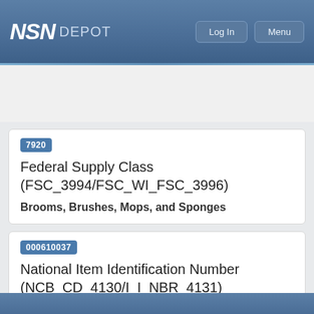NSN DEPOT
Search NSN, NIIN, Part Number or Keywords
7920
Federal Supply Class (FSC_3994/FSC_WI_FSC_3996)
Brooms, Brushes, Mops, and Sponges
000610037
National Item Identification Number (NCB_CD_4130/I_I_NBR_4131)